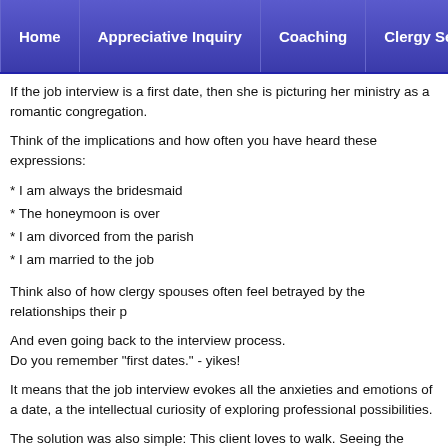Home | Appreciative Inquiry | Coaching | Clergy Search | Re...
If the job interview is a first date, then she is picturing her ministry as a romantic congregation.
Think of the implications and how often you have heard these expressions:
* I am always the bridesmaid
* The honeymoon is over
* I am divorced from the parish
* I am married to the job
Think also of how clergy spouses often feel betrayed by the relationships their p
And even going back to the interview process.
Do you remember "first dates." - yikes!
It means that the job interview evokes all the anxieties and emotions of a date, a the intellectual curiosity of exploring professional possibilities.
The solution was also simple: This client loves to walk. Seeing the search proce interviewers, "walking through various options," makes profound sense to this cl rather than her anxiety.
She also knows that some people are creative to walk with, and others are not. ask:
"Would I like to walk with these people?" "Would walking with these people be li "Would we just stumble around and get lost?"